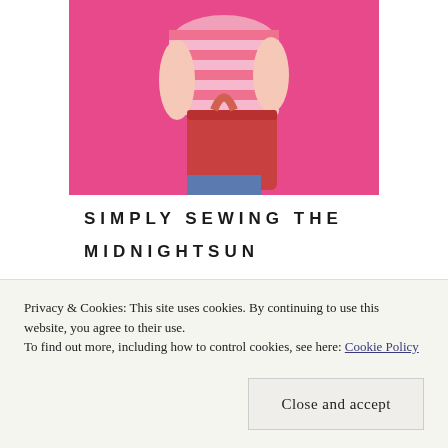[Figure (photo): Photo of a person in a pink striped top holding a red/coral tote bag against a bright pink background]
SIMPLY SEWING THE MIDNIGHTSUN
MARCH 18, 2022
READ MORE
[Figure (photo): Partial view of another photo below, showing warm beige/orange tones]
Privacy & Cookies: This site uses cookies. By continuing to use this website, you agree to their use.
To find out more, including how to control cookies, see here: Cookie Policy
Close and accept